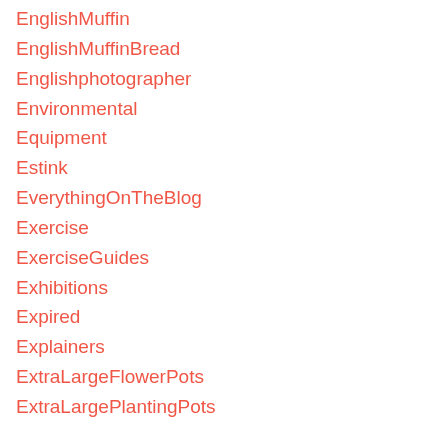EnglishMuffin
EnglishMuffinBread
Englishphotographer
Environmental
Equipment
Estink
EverythingOnTheBlog
Exercise
ExerciseGuides
Exhibitions
Expired
Explainers
ExtraLargeFlowerPots
ExtraLargePlantingPots